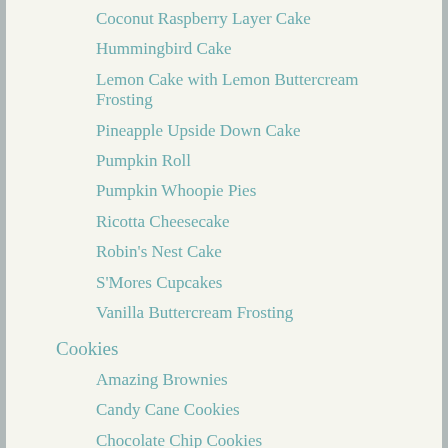Coconut Raspberry Layer Cake
Hummingbird Cake
Lemon Cake with Lemon Buttercream Frosting
Pineapple Upside Down Cake
Pumpkin Roll
Pumpkin Whoopie Pies
Ricotta Cheesecake
Robin's Nest Cake
S'Mores Cupcakes
Vanilla Buttercream Frosting
Cookies
Amazing Brownies
Candy Cane Cookies
Chocolate Chip Cookies
Chocolate Covered Oreos